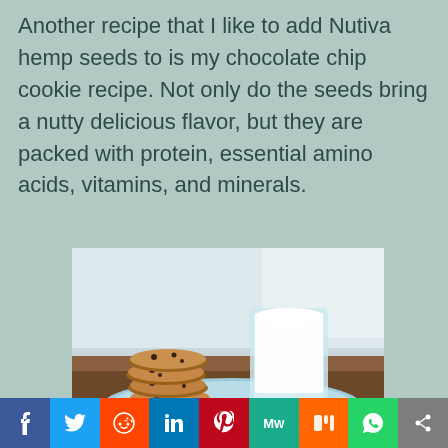Another recipe that I like to add Nutiva hemp seeds to is my chocolate chip cookie recipe. Not only do the seeds bring a nutty delicious flavor, but they are packed with protein, essential amino acids, vitamins, and minerals.
[Figure (photo): A stack of chocolate chip cookies on a blue plate next to a glass of milk]
[Figure (infographic): Social media sharing buttons: Facebook, Twitter, Reddit, LinkedIn, Pinterest, MeWe, Mix, WhatsApp, Share]